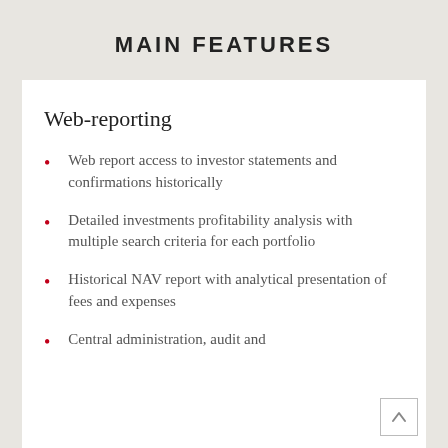MAIN FEATURES
Web-reporting
Web report access to investor statements and confirmations historically
Detailed investments profitability analysis with multiple search criteria for each portfolio
Historical NAV report with analytical presentation of fees and expenses
Central administration, audit and